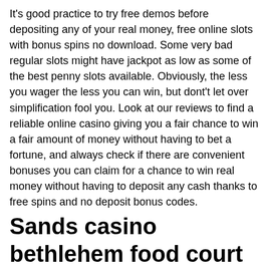It's good practice to try free demos before depositing any of your real money, free online slots with bonus spins no download. Some very bad regular slots might have jackpot as low as some of the best penny slots available. Obviously, the less you wager the less you can win, but dont't let over simplification fool you. Look at our reviews to find a reliable online casino giving you a fair chance to win a fair amount of money without having to bet a fortune, and always check if there are convenient bonuses you can claim for a chance to win real money without having to deposit any cash thanks to free spins and no deposit bonus codes.
Sands casino bethlehem food court
So, what are you waiting for? we have everything you need, right here. Enjoy free